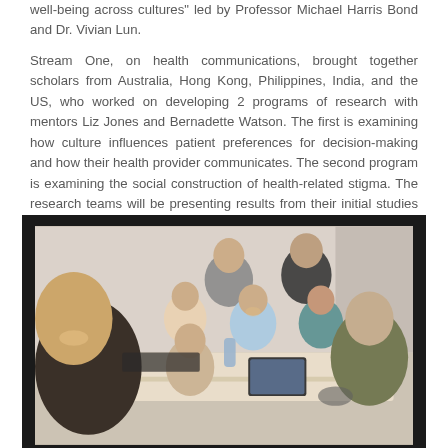well-being across cultures" led by Professor Michael Harris Bond and Dr. Vivian Lun.

Stream One, on health communications, brought together scholars from Australia, Hong Kong, Philippines, India, and the US, who worked on developing 2 programs of research with mentors Liz Jones and Bernadette Watson. The first is examining how culture influences patient preferences for decision-making and how their health provider communicates. The second program is examining the social construction of health-related stigma. The research teams will be presenting results from their initial studies at ICLASP in Hong Kong next year.
[Figure (photo): Group photo of approximately 8 scholars seated and standing around a conference table, smiling at the camera. The photo appears to be taken at a research meeting or workshop.]